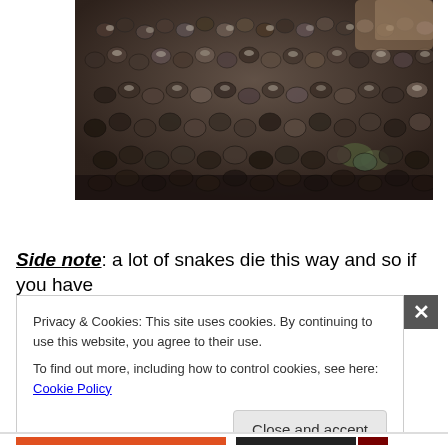[Figure (photo): Close-up photograph of a snake's scales, showing dark brown and iridescent scaly texture with some lighter coloring visible at the top right corner.]
Side note: a lot of snakes die this way and so if you have
Privacy & Cookies: This site uses cookies. By continuing to use this website, you agree to their use.
To find out more, including how to control cookies, see here: Cookie Policy